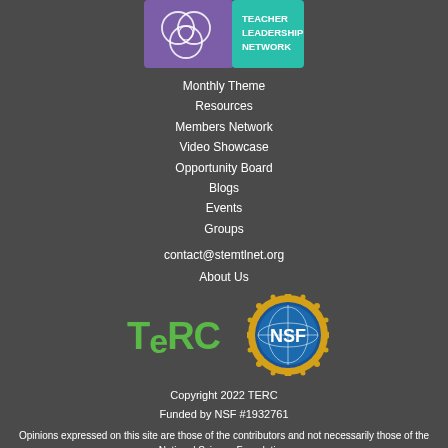[Figure (logo): Teacher Leadership Network logo with purple/teal background and circular graphic]
Monthly Theme
Resources
Members Network
Video Showcase
Opportunity Board
Blogs
Events
Groups
contact@stemtlnet.org
About Us
[Figure (logo): TERC logo in green text]
[Figure (logo): NSF (National Science Foundation) circular seal logo with globe and gold gear border]
Copyright 2022 TERC
Funded by NSF #1932761
Opinions expressed on this site are those of the contributors and not necessarily those of the National Science Foundation.